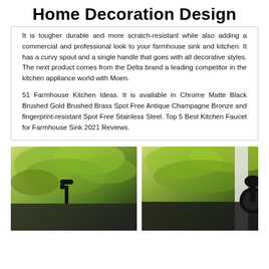Home Decoration Design
It is tougher durable and more scratch-resistant while also adding a commercial and professional look to your farmhouse sink and kitchen. It has a curvy spout and a single handle that goes with all decorative styles. The next product comes from the Delta brand a leading competitor in the kitchen appliance world with Moen.
51 Farmhouse Kitchen Ideas. It is available in Chrome Matte Black Brushed Gold Brushed Brass Spot Free Antique Champagne Bronze and fingerprint-resistant Spot Free Stainless Steel. Top 5 Best Kitchen Faucet for Farmhouse Sink 2021 Reviews.
[Figure (photo): Two photos side by side showing kitchen faucets against a green tree background. Left image shows a faucet in a farmhouse sink setting. Right image shows a black faucet against a similar outdoor-tree background.]